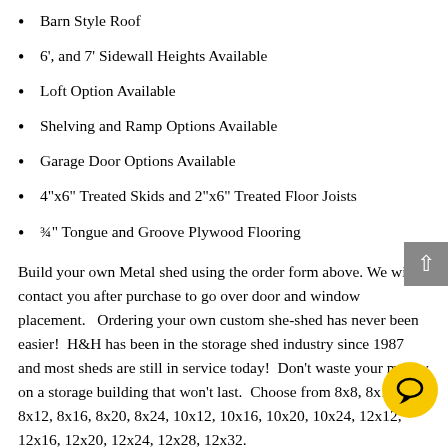Barn Style Roof
6', and 7' Sidewall Heights Available
Loft Option Available
Shelving and Ramp Options Available
Garage Door Options Available
4"x6" Treated Skids and 2"x6" Treated Floor Joists
¾" Tongue and Groove Plywood Flooring
Build your own Metal shed using the order form above. We will contact you after purchase to go over door and window placement.   Ordering your own custom she-shed has never been easier!  H&H has been in the storage shed industry since 1987 and most sheds are still in service today!  Don't waste your money on a storage building that won't last.  Choose from 8x8, 8x10, 8x12, 8x16, 8x20, 8x24, 10x12, 10x16, 10x20, 10x24, 12x12, 12x16, 12x20, 12x24, 12x28, 12x32.
Free set up and delivery within 50 miles of your nearest H&H location!  H&H provides everything needed to block